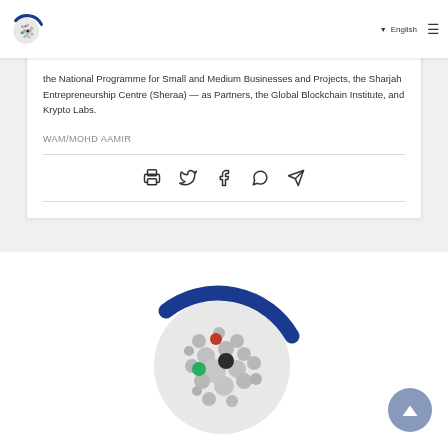WAM News Agency — English navigation header with logo
the National Programme for Small and Medium Businesses and Projects, the Sharjah Entrepreneurship Centre (Sheraa) — as Partners, the Global Blockchain Institute, and Krypto Labs.
WAM/MOHD AAMIR
[Figure (other): Social sharing icons row: print, twitter, facebook, whatsapp, telegram]
[Figure (logo): WAM News Agency logo — large globe with colored dots and blue crescent arc]